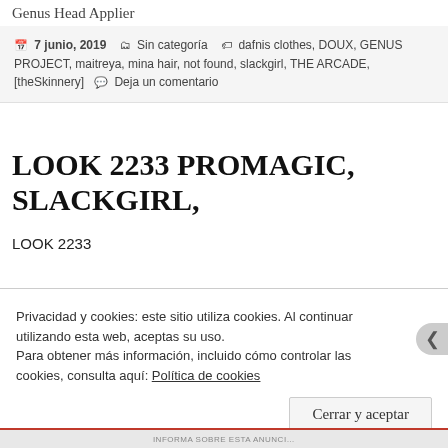Genus Head Applier
7 junio, 2019   Sin categoría   dafnis clothes, DOUX, GENUS PROJECT, maitreya, mina hair, not found, slackgirl, THE ARCADE, [theSkinnery]   Deja un comentario
LOOK 2233 PROMAGIC, SLACKGIRL,
LOOK 2233
Privacidad y cookies: este sitio utiliza cookies. Al continuar utilizando esta web, aceptas su uso.
Para obtener más información, incluido cómo controlar las cookies, consulta aquí: Política de cookies
Cerrar y aceptar